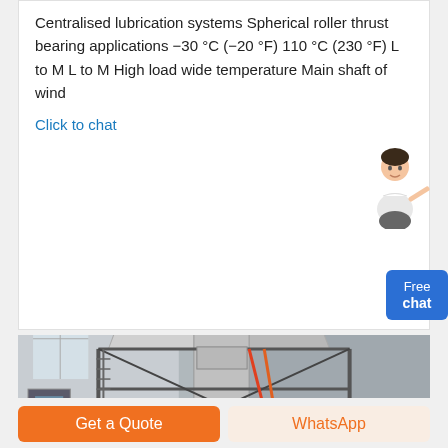Centralised lubrication systems Spherical roller thrust bearing applications −30 °C (−20 °F) 110 °C (230 °F) L to M L to M High load wide temperature Main shaft of wind
Click to chat
[Figure (photo): Industrial facility interior showing large ductwork, pipes, metal structures, silos or tanks, and machinery typical of a manufacturing or processing plant.]
Free chat
Get a Quote
WhatsApp